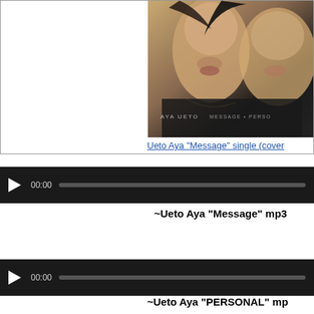[Figure (photo): Album cover photo of Aya Ueto 'Message' single showing close-up of two faces with text AYA UETO MESSAGE PERSONAL]
Ueto Aya “Message” single (cover)
[Figure (screenshot): Audio player 1 with play button, 00:00 timestamp and progress bar]
~Ueto Aya “Message” mp3
[Figure (screenshot): Audio player 2 with play button, 00:00 timestamp and progress bar]
~Ueto Aya “PERSONAL” mp